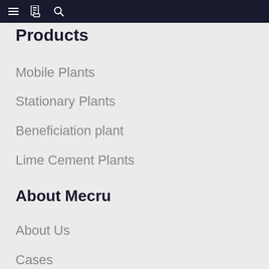≡ 📋 🔍
Products
Mobile Plants
Stationary Plants
Beneficiation plant
Lime Cement Plants
About Mecru
About Us
Cases
Solution
News